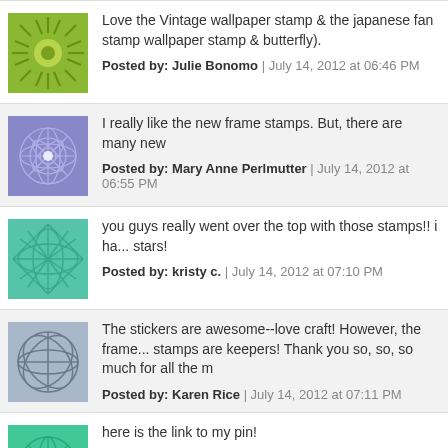Love the Vintage wallpaper stamp & the japanese fan stamp wallpaper stamp & butterfly).
Posted by: Julie Bonomo | July 14, 2012 at 06:46 PM
I really like the new frame stamps. But, there are many new
Posted by: Mary Anne Perlmutter | July 14, 2012 at 06:55 PM
you guys really went over the top with those stamps!! i ha... stars!
Posted by: kristy c. | July 14, 2012 at 07:10 PM
The stickers are awesome--love craft! However, the frame... stamps are keepers! Thank you so, so, so much for all the m
Posted by: Karen Rice | July 14, 2012 at 07:11 PM
here is the link to my pin!
http://pinterest.com/pin/134474738844327000/